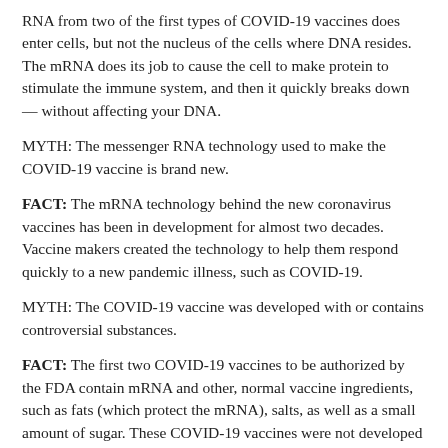RNA from two of the first types of COVID-19 vaccines does enter cells, but not the nucleus of the cells where DNA resides. The mRNA does its job to cause the cell to make protein to stimulate the immune system, and then it quickly breaks down — without affecting your DNA.
MYTH: The messenger RNA technology used to make the COVID-19 vaccine is brand new.
FACT: The mRNA technology behind the new coronavirus vaccines has been in development for almost two decades. Vaccine makers created the technology to help them respond quickly to a new pandemic illness, such as COVID-19.
MYTH: The COVID-19 vaccine was developed with or contains controversial substances.
FACT: The first two COVID-19 vaccines to be authorized by the FDA contain mRNA and other, normal vaccine ingredients, such as fats (which protect the mRNA), salts, as well as a small amount of sugar. These COVID-19 vaccines were not developed using fetal tissue, and they do not contain any material, such as implants, microchips or tracking devices.
MYTH: Now that we have a vaccine for COVID-19, we can make vaccines for the common cold, HIV and other diseases.